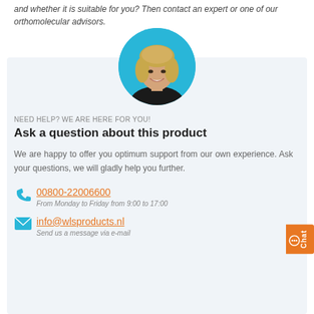and whether it is suitable for you? Then contact an expert or one of our orthomolecular advisors.
[Figure (photo): Circular portrait photo of a woman with blonde hair smiling, on a cyan/blue background]
NEED HELP? WE ARE HERE FOR YOU!
Ask a question about this product
We are happy to offer you optimum support from our own experience. Ask your questions, we will gladly help you further.
00800-22006600
From Monday to Friday from 9:00 to 17:00
info@wlsproducts.nl
Send us a message via e-mail